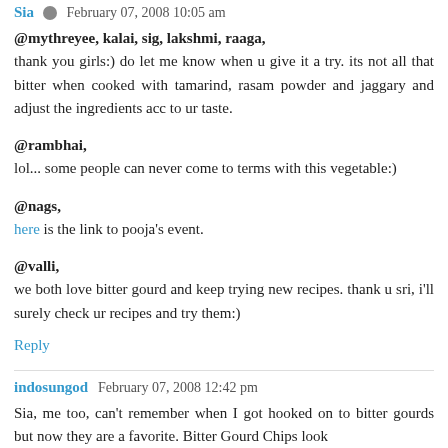Sia · February 07, 2008 10:05 am
@mythreyee, kalai, sig, lakshmi, raaga,
thank you girls:) do let me know when u give it a try. its not all that bitter when cooked with tamarind, rasam powder and jaggary and adjust the ingredients acc to ur taste.
@rambhai,
lol... some people can never come to terms with this vegetable:)
@nags,
here is the link to pooja's event.
@valli,
we both love bitter gourd and keep trying new recipes. thank u sri, i'll surely check ur recipes and try them:)
Reply
indosungod · February 07, 2008 12:42 pm
Sia, me too, can't remember when I got hooked on to bitter gourds but now they are a favorite. Bitter Gourd Chips look